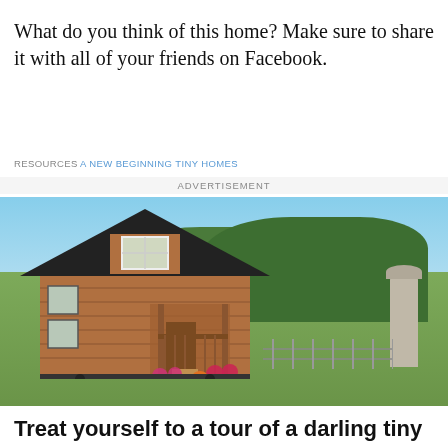What do you think of this home? Make sure to share it with all of your friends on Facebook.
RESOURCES A NEW BEGINNING TINY HOMES
ADVERTISEMENT
[Figure (photo): A small wooden two-story tiny home on a trailer, with a covered porch and dormer window, set in a green meadow with trees and a silo in the background. Yellow mums and pumpkins decorate the front steps.]
Treat yourself to a tour of a darling tiny